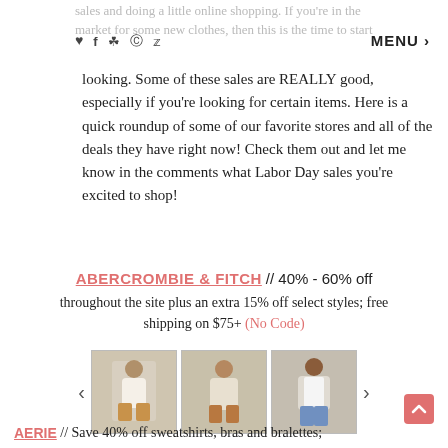sales and doing a little online shopping. If you're in the market for some new clothes, then this is the time to start
looking. Some of these sales are REALLY good, especially if you're looking for certain items. Here is a quick roundup of some of our favorite stores and all of the deals they have right now! Check them out and let me know in the comments what Labor Day sales you're excited to shop!
ABERCROMBIE & FITCH // 40% - 60% off throughout the site plus an extra 15% off select styles; free shipping on $75+ (No Code)
[Figure (photo): Three fashion photos of women wearing Abercrombie & Fitch clothing including knitwear, sweaters and denim shorts]
AERIE // Save 40% off sweatshirts, bras and bralettes;